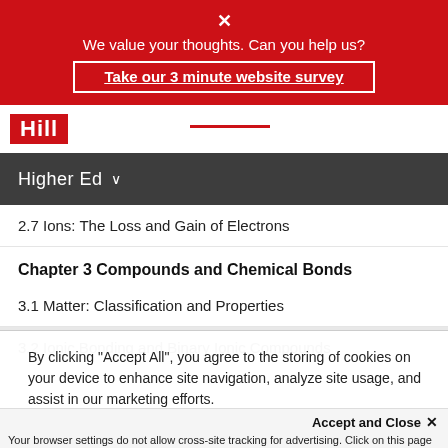[Figure (screenshot): Red survey banner with close X, text 'We value your thoughts. Can you help us?' and a 'Take our 3 minute website survey' link button]
Hill
Higher Ed
2.7 Ions: The Loss and Gain of Electrons
Chapter 3 Compounds and Chemical Bonds
3.1 Matter: Classification and Properties
3.2 Ionic Bonding and Binary Ionic Compounds
By clicking “Accept All”, you agree to the storing of cookies on your device to enhance site navigation, analyze site usage, and assist in our marketing efforts.
Accept and Close ×
Your browser settings do not allow cross-site tracking for advertising. Click on this page to allow AdRoll to use cross-site tracking to tailor ads to you. Learn more or opt out of this AdRoll tracking by clicking here. This message only appears once.